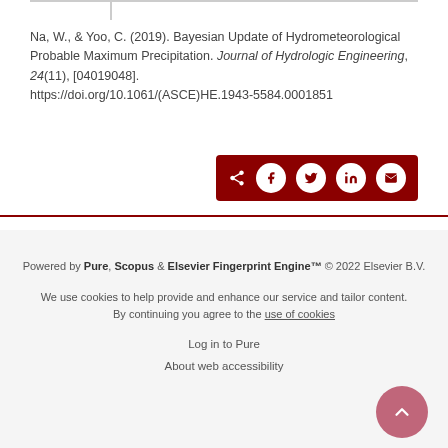Na, W., & Yoo, C. (2019). Bayesian Update of Hydrometeorological Probable Maximum Precipitation. Journal of Hydrologic Engineering, 24(11), [04019048]. https://doi.org/10.1061/(ASCE)HE.1943-5584.0001851
[Figure (other): Share buttons panel with dark red background containing share icon and social media buttons for Facebook, Twitter, LinkedIn, and Email]
Powered by Pure, Scopus & Elsevier Fingerprint Engine™ © 2022 Elsevier B.V.
We use cookies to help provide and enhance our service and tailor content. By continuing you agree to the use of cookies
Log in to Pure
About web accessibility